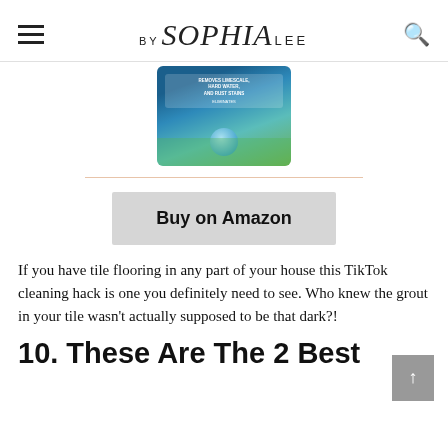BY Sophia LEE
[Figure (photo): Product image of a cleaning product container with blue and green label]
[Figure (other): Buy on Amazon button]
If you have tile flooring in any part of your house this TikTok cleaning hack is one you definitely need to see. Who knew the grout in your tile wasn't actually supposed to be that dark?!
10. These Are The 2 Best